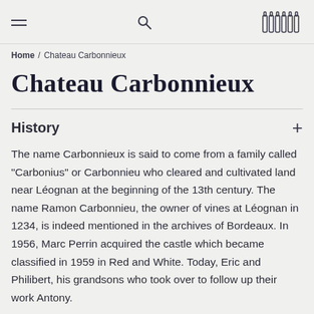Navigation bar with hamburger menu, search icon, and bottles icon
Home / Chateau Carbonnieux
Chateau Carbonnieux
History
The name Carbonnieux is said to come from a family called "Carbonius" or Carbonnieu who cleared and cultivated land near Léognan at the beginning of the 13th century. The name Ramon Carbonnieu, the owner of vines at Léognan in 1234, is indeed mentioned in the archives of Bordeaux. In 1956, Marc Perrin acquired the castle which became classified in 1959 in Red and White. Today, Eric and Philibert, his grandsons who took over to follow up their work Antony.